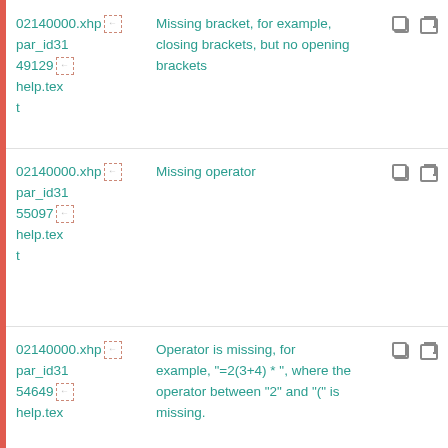| ID | Description | Actions |
| --- | --- | --- |
| 02140000.xhp par_id3149129 help.text | Missing bracket, for example, closing brackets, but no opening brackets | icons |
| 02140000.xhp par_id3155097 help.text | Missing operator | icons |
| 02140000.xhp par_id3154649 help.text | Operator is missing, for example, "=2(3+4) * ", where the operator between "2" and "(" is missing. | icons |